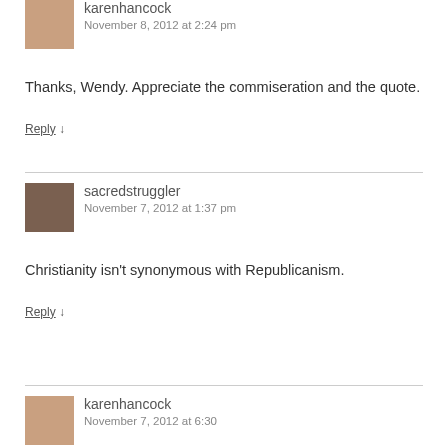karenhancock
November 8, 2012 at 2:24 pm
Thanks, Wendy. Appreciate the commiseration and the quote.
Reply ↓
sacredstruggler
November 7, 2012 at 1:37 pm
Christianity isn't synonymous with Republicanism.
Reply ↓
karenhancock
November 7, 2012 at 6:38